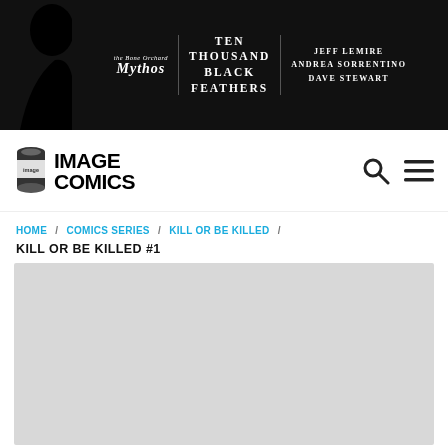the Bone Orchard Mythos / TEN THOUSAND BLACK FEATHERS / JEFF LEMIRE ANDREA SORRENTINO DAVE STEWART
[Figure (logo): Image Comics logo with cylindrical icon and bold IMAGE COMICS text]
HOME / COMICS SERIES / KILL OR BE KILLED /
KILL OR BE KILLED #1
[Figure (photo): Large light gray placeholder image area for comic book cover]